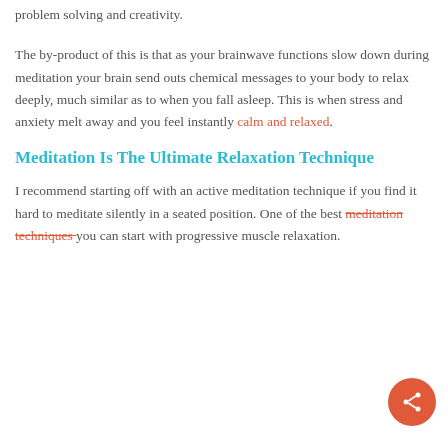problem solving and creativity.
The by-product of this is that as your brainwave functions slow down during meditation your brain send outs chemical messages to your body to relax deeply, much similar as to when you fall asleep. This is when stress and anxiety melt away and you feel instantly calm and relaxed.
Meditation Is The Ultimate Relaxation Technique
I recommend starting off with an active meditation technique if you find it hard to meditate silently in a seated position. One of the best meditation techniques you can start with progressive muscle relaxation.